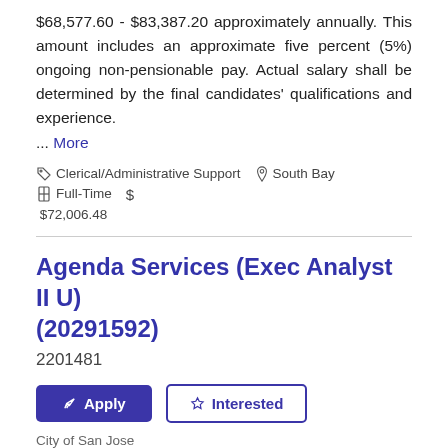$68,577.60 - $83,387.20 approximately annually. This amount includes an approximate five percent (5%) ongoing non-pensionable pay. Actual salary shall be determined by the final candidates' qualifications and experience.
... More
Clerical/Administrative Support   South Bay   Full-Time   $ $72,006.48
Agenda Services (Exec Analyst II U) (20291592)
2201481
Apply   Interested
City of San Jose
About the Office of Administration, Policy, and Intergovernmental Relations
... More